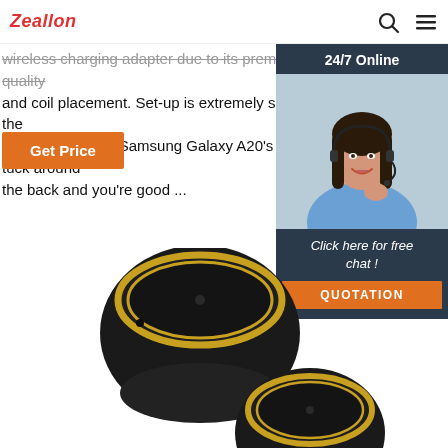Zeallon
wireless charging adapter due to its premium build quality and coil placement. Set-up is extremely simple, just plug the adapter into your Samsung Galaxy A20's USB-C port, tuck around the back and you're good ...
Get Price
[Figure (photo): Customer service representative widget with '24/7 Online' banner, photo of woman with headset smiling, 'Click here for free chat!' text, and orange QUOTATION button]
[Figure (photo): Two black wireless earbuds with gold accent rings, one positioned above the other, shown at an angle]